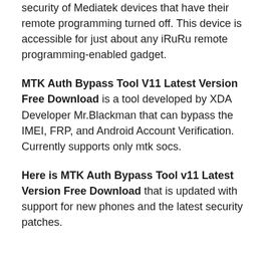security of Mediatek devices that have their remote programming turned off. This device is accessible for just about any iRuRu remote programming-enabled gadget.
MTK Auth Bypass Tool V11 Latest Version Free Download is a tool developed by XDA Developer Mr.Blackman that can bypass the IMEI, FRP, and Android Account Verification. Currently supports only mtk socs.
Here is MTK Auth Bypass Tool v11 Latest Version Free Download that is updated with support for new phones and the latest security patches.